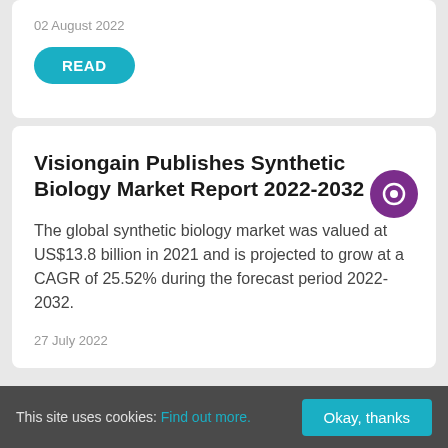02 August 2022
READ
Visiongain Publishes Synthetic Biology Market Report 2022-2032
The global synthetic biology market was valued at US$13.8 billion in 2021 and is projected to grow at a CAGR of 25.52% during the forecast period 2022-2032.
27 July 2022
This site uses cookies: Find out more. Okay, thanks